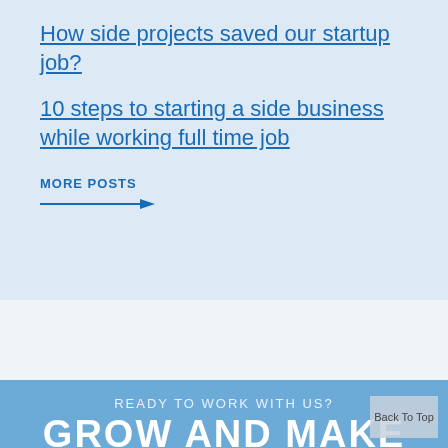How side projects saved our startup job?
10 steps to starting a side business while working full time job
MORE POSTS →
READY TO WORK WITH US?
GROW AND MAKE